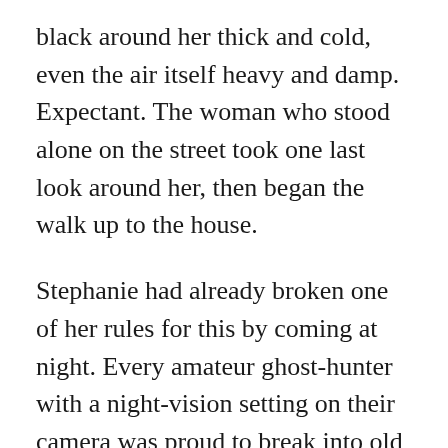black around her thick and cold, even the air itself heavy and damp. Expectant. The woman who stood alone on the street took one last look around her, then began the walk up to the house.
Stephanie had already broken one of her rules for this by coming at night. Every amateur ghost-hunter with a night-vision setting on their camera was proud to break into old hospitals or apartment blocs then act as if they'd accomplished something miraculous by catching an artifact of light on the recording. As if ghosts cared about what time of day it was. As if they cared about anything at all. But the academy didn't understand that, nor did